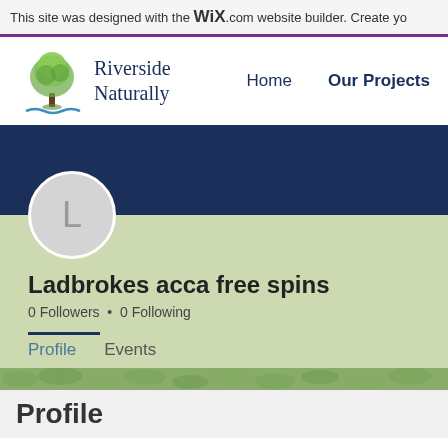This site was designed with the WiX.com website builder. Create yo
[Figure (logo): Riverside Naturally logo with green tree illustration and blue wavy underline]
Riverside Naturally
Home   Our Projects
[Figure (illustration): User avatar circle with letter L on dark navy banner background]
Ladbrokes acca free spins
0 Followers • 0 Following
Profile   Events
Profile